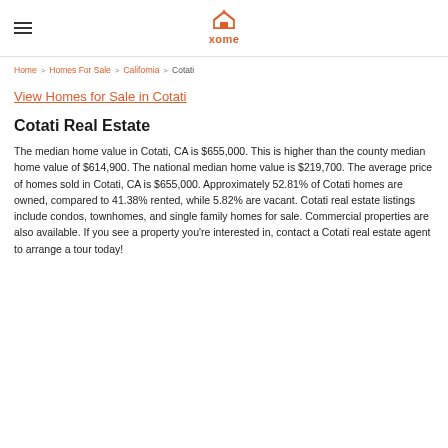xome
Home > Homes For Sale > California > Cotati
View Homes for Sale in Cotati
Cotati Real Estate
The median home value in Cotati, CA is $655,000. This is higher than the county median home value of $614,900. The national median home value is $219,700. The average price of homes sold in Cotati, CA is $655,000. Approximately 52.81% of Cotati homes are owned, compared to 41.38% rented, while 5.82% are vacant. Cotati real estate listings include condos, townhomes, and single family homes for sale. Commercial properties are also available. If you see a property you're interested in, contact a Cotati real estate agent to arrange a tour today!